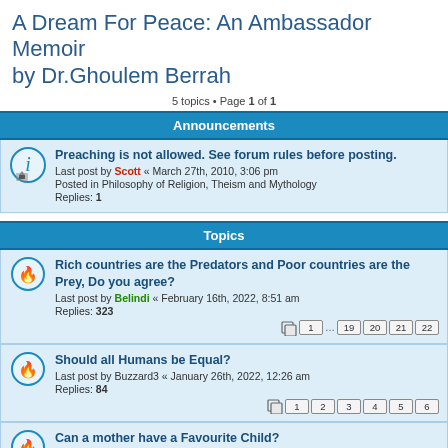A Dream For Peace: An Ambassador Memoir by Dr.Ghoulem Berrah
5 topics • Page 1 of 1
Announcements
Preaching is not allowed. See forum rules before posting. Last post by Scott « March 27th, 2010, 3:06 pm Posted in Philosophy of Religion, Theism and Mythology Replies: 1
Topics
Rich countries are the Predators and Poor countries are the Prey, Do you agree? Last post by Belindi « February 16th, 2022, 8:51 am Replies: 323
Should all Humans be Equal? Last post by Buzzard3 « January 26th, 2022, 12:26 am Replies: 84
Can a mother have a Favourite Child? Last post by Sushan « December 30th, 2021, 9:46 pm